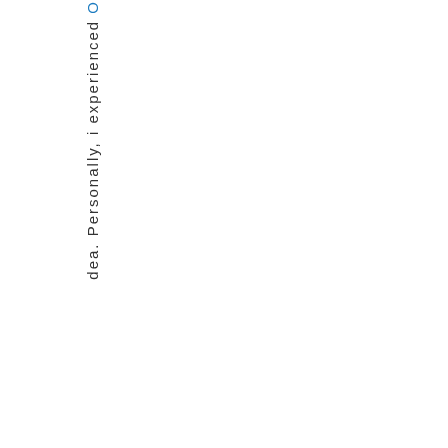dea. Personally, i experienced O...